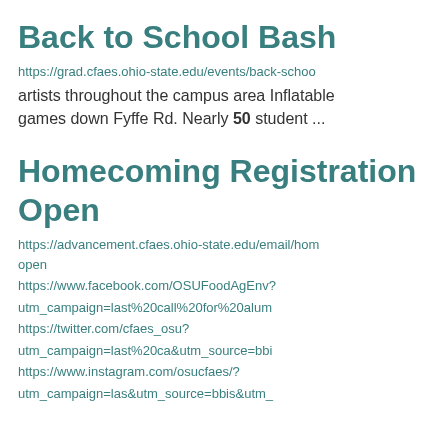Back to School Bash
https://grad.cfaes.ohio-state.edu/events/back-schoo artists throughout the campus area Inflatable games down Fyffe Rd. Nearly 50 student ...
Homecoming Registration Open
https://advancement.cfaes.ohio-state.edu/email/hom open
https://www.facebook.com/OSUFoodAgEnv?
utm_campaign=last%20call%20for%20alum
https://twitter.com/cfaes_osu?
utm_campaign=last%20ca&utm_source=bbi
https://www.instagram.com/osucfaes/?
utm_campaign=las&utm_source=bbis&utm_